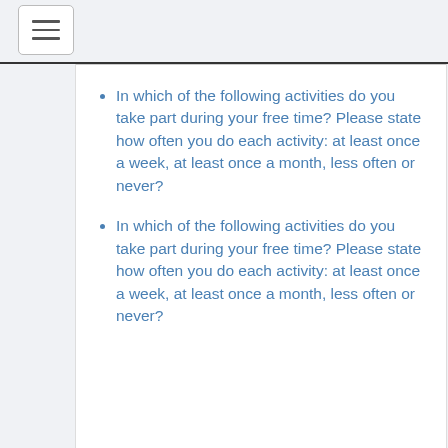[Figure (other): Hamburger menu icon button in top-left corner]
In which of the following activities do you take part during your free time? Please state how often you do each activity: at least once a week, at least once a month, less often or never?
In which of the following activities do you take part during your free time? Please state how often you do each activity: at least once a week, at least once a month, less often or never?